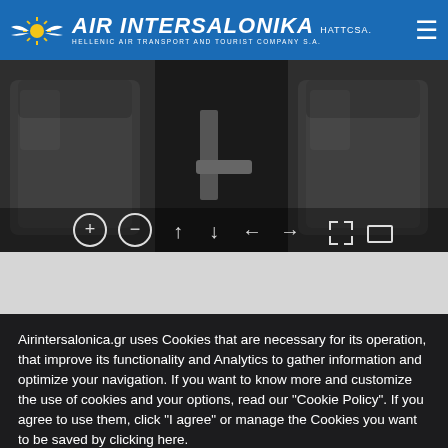AIR INTERSALONIKA HATTCSA — HELLENIC AIR TRANSPORT AND TOURIST COMPANY S.A.
[Figure (photo): Close-up photo of dark leather aircraft seats with seatbelt visible, with image navigation controls overlaid at bottom (zoom in, zoom out, pan up, pan down, pan left, pan right, fullscreen, rectangle-select icons)]
Airintersalonica.gr uses Cookies that are necessary for its operation, that improve its functionality and Analytics to gather information and optimize your navigation. If you want to know more and customize the use of cookies and your options, read our "Cookie Policy". If you agree to use them, click "I agree" or manage the Cookies you want to be saved by clicking here.
I agree
I do not agree